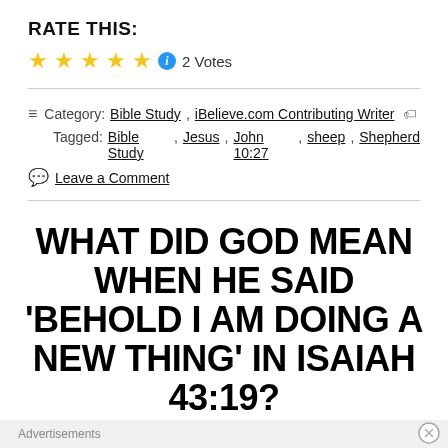RATE THIS:
★★★★★ ℹ 2 Votes
≡ Category: Bible Study, iBelieve.com Contributing Writer 🏷
Tagged: Bible Study, Jesus, John 10:27, sheep, Shepherd
💬 Leave a Comment
WHAT DID GOD MEAN WHEN HE SAID 'BEHOLD I AM DOING A NEW THING' IN ISAIAH 43:19?
© Posted on June 23, 2021
Advertisements